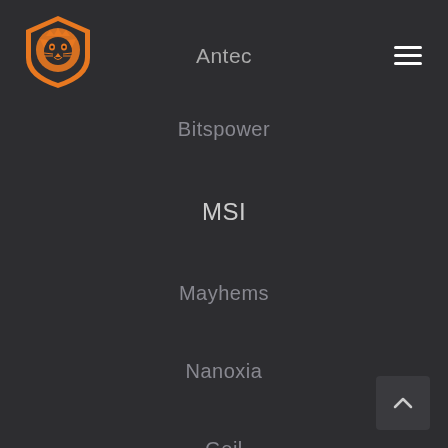[Figure (logo): Orange lion head logo inside a shield/badge shape on dark background]
Antec
Bitspower
MSI
Mayhems
Nanoxia
Geil